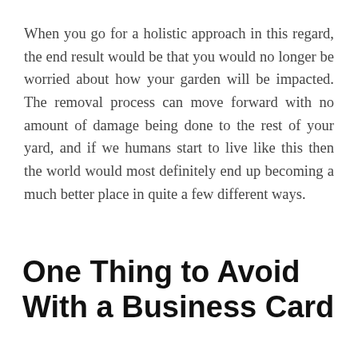When you go for a holistic approach in this regard, the end result would be that you would no longer be worried about how your garden will be impacted. The removal process can move forward with no amount of damage being done to the rest of your yard, and if we humans start to live like this then the world would most definitely end up becoming a much better place in quite a few different ways.
One Thing to Avoid With a Business Card